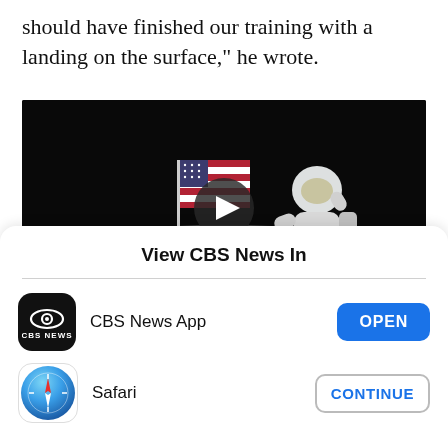should have finished our training with a landing on the surface," he wrote.
[Figure (photo): Video thumbnail showing an astronaut standing on the moon surface next to an American flag, with a play button overlay. Caption reads: NASA almost didn't film the first moon landing]
NASA almost didn't film the first moon landing
View CBS News In
CBS News App
Safari